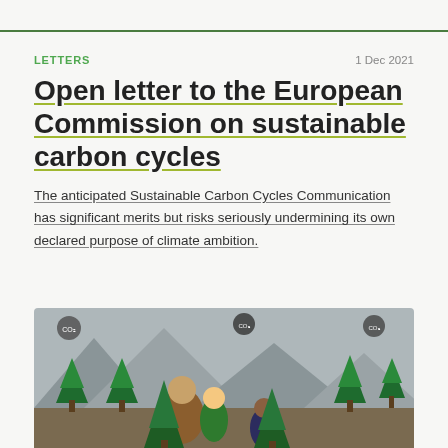LETTERS   1 Dec 2021
Open letter to the European Commission on sustainable carbon cycles
The anticipated Sustainable Carbon Cycles Communication has significant merits but risks seriously undermining its own declared purpose of climate ambition.
[Figure (illustration): Illustrated scene showing animated characters in a forest with green trees and grey mountains in the background. People and trees depicted in a cartoon style.]